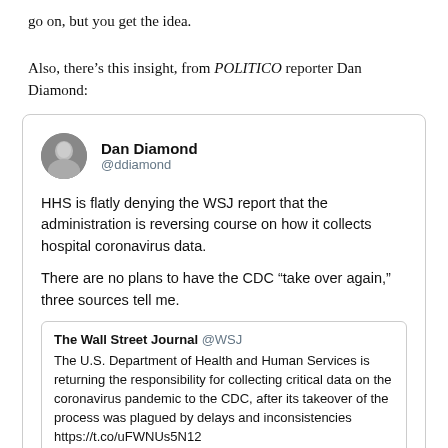go on, but you get the idea.
Also, there’s this insight, from POLITICO reporter Dan Diamond:
[Figure (screenshot): Embedded tweet from Dan Diamond (@ddiamond): HHS is flatly denying the WSJ report that the administration is reversing course on how it collects hospital coronavirus data. There are no plans to have the CDC “take over again,” three sources tell me. Contains a nested tweet from The Wall Street Journal @WSJ: The U.S. Department of Health and Human Services is returning the responsibility for collecting critical data on the coronavirus pandemic to the CDC, after its takeover of the process was plagued by delays and inconsistencies https://t.co/uFWNUs5N12]